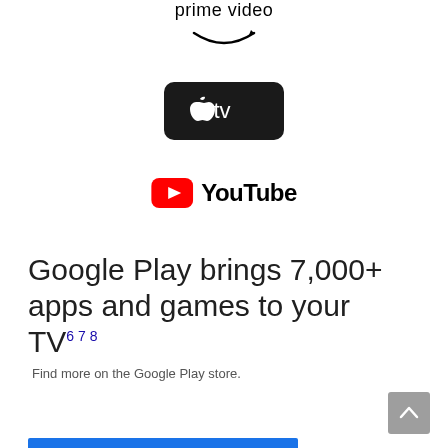[Figure (logo): Amazon Prime Video logo with text and smile arrow]
[Figure (logo): Apple TV logo on dark rounded rectangle background]
[Figure (logo): YouTube logo with red play button icon and YouTube text]
Google Play brings 7,000+ apps and games to your TV 6 7 8
Find more on the Google Play store.